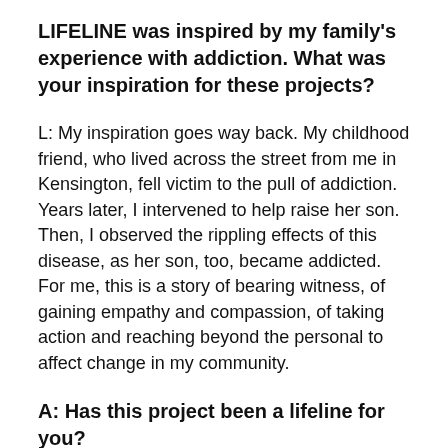LIFELINE was inspired by my family's experience with addiction. What was your inspiration for these projects?
L: My inspiration goes way back. My childhood friend, who lived across the street from me in Kensington, fell victim to the pull of addiction. Years later, I intervened to help raise her son. Then, I observed the rippling effects of this disease, as her son, too, became addicted. For me, this is a story of bearing witness, of gaining empathy and compassion, of taking action and reaching beyond the personal to affect change in my community.
A: Has this project been a lifeline for you?